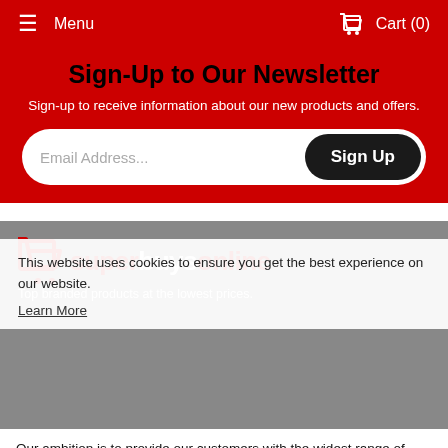Menu | Cart (0)
Sign-Up to Our Newsletter
Sign-up to receive information about our new products and offers.
Email Address... | Sign Up
[Figure (logo): Superbuys Online logo with shopping cart icon and text 'superbuysonline']
Top branded products at low prices.
This website uses cookies to ensure you get the best experience on our website.
Learn More
Our ambition is to provide our customers with the widest range of home and garden products at the lowest prices everyday, backed with the best service. With over 20 years of experience we work closely with worldwide brands, distributors, & manufactures to find the best products at knockdown
Accept and Close